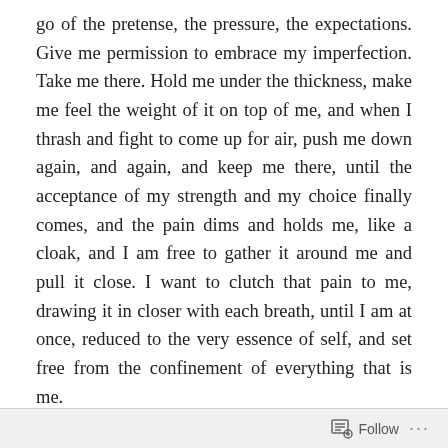go of the pretense, the pressure, the expectations. Give me permission to embrace my imperfection. Take me there. Hold me under the thickness, make me feel the weight of it on top of me, and when I thrash and fight to come up for air, push me down again, and again, and keep me there, until the acceptance of my strength and my choice finally comes, and the pain dims and holds me, like a cloak, and I am free to gather it around me and pull it close. I want to clutch that pain to me, drawing it in closer with each breath, until I am at once, reduced to the very essence of self, and set free from the confinement of everything that is me.
Once I am there, stand guard. Keep me safe and watch over me, until, after a time, you reach down and pull me
Follow ···